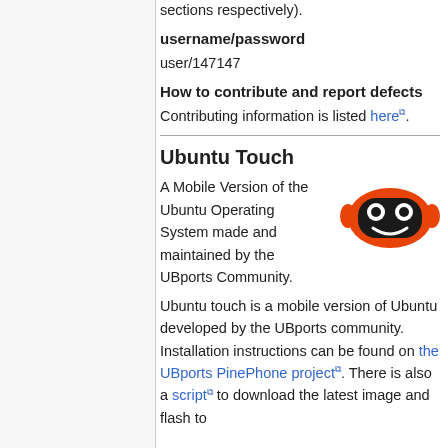sections respectively).
username/password
user/147147
How to contribute and report defects
Contributing information is listed here.
Ubuntu Touch
[Figure (illustration): Orange robot mascot icon with two eyes and a smile]
A Mobile Version of the Ubuntu Operating System made and maintained by the UBports Community.
Ubuntu touch is a mobile version of Ubuntu developed by the UBports community. Installation instructions can be found on the UBports PinePhone project. There is also a script to download the latest image and flash to